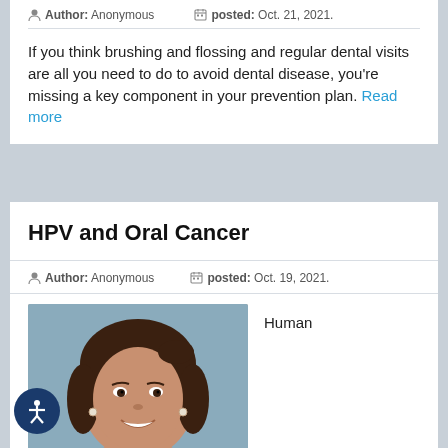Author: Anonymous   posted: Oct. 21, 2021.
If you think brushing and flossing and regular dental visits are all you need to do to avoid dental disease, you're missing a key component in your prevention plan. Read more
HPV and Oral Cancer
Author: Anonymous   posted: Oct. 19, 2021.
[Figure (photo): Smiling young woman with dark hair pulled back, blue background]
Human